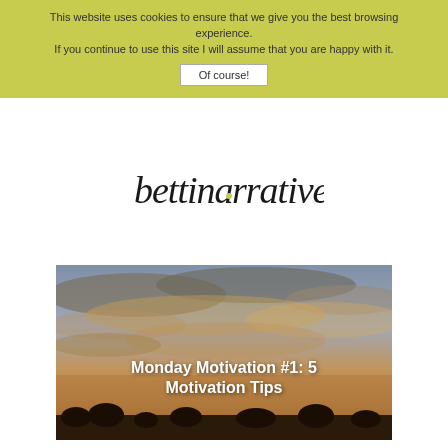This website uses cookies to ensure that we give you the best browsing experience. If you continue to use this site I will assume that you are happy with it. Of course!
[Figure (logo): bettiinarratiue cursive script logo in dark ink]
[Figure (photo): Dramatic sunset sky with clouds, with text overlay reading 'Monday Motivation #1: 5 Motivation Tips']